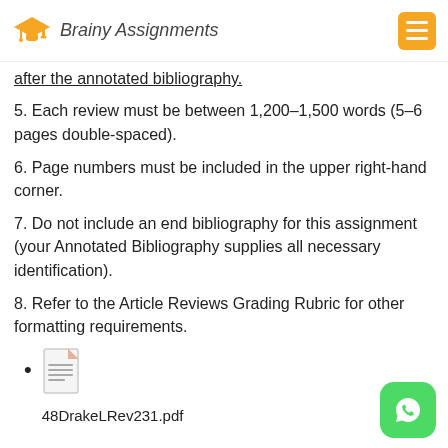Brainy Assignments
after the annotated bibliography.
5. Each review must be between 1,200–1,500 words (5–6 pages double-spaced).
6. Page numbers must be included in the upper right-hand corner.
7. Do not include an end bibliography for this assignment (your Annotated Bibliography supplies all necessary identification).
8. Refer to the Article Reviews Grading Rubric for other formatting requirements.
[Figure (illustration): Document file icon]
48DrakeLRev231.pdf